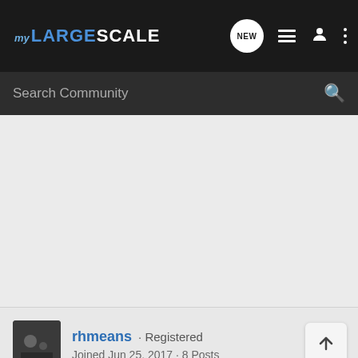MY LARGE SCALE
Search Community
rhmeans · Registered
Joined Jun 25, 2017 · 8 Posts
Discussion Starter · #9 · Dec 2, 2021